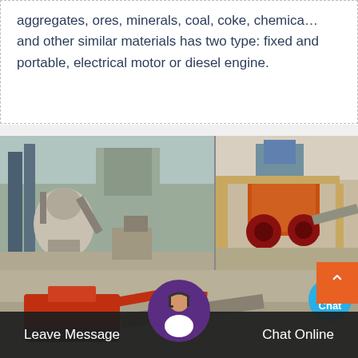aggregates, ores, minerals, coal, coke, chemica… and other similar materials has two type: fixed and portable, electrical motor or diesel engine.
[Figure (photo): Two industrial mining/crushing machinery photos side by side at top, and one below showing red excavation/conveyor equipment on gravel site. Live Chat bubble overlaid on top-right.]
Leave Message
Chat Online